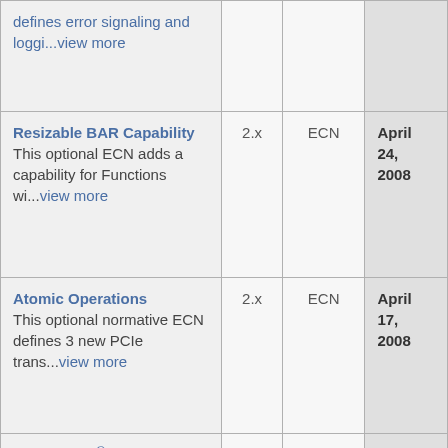| Name/Description | Version | Type | Date |
| --- | --- | --- | --- |
| defines error signaling and loggi...view more |  |  |  |
| Resizable BAR Capability
This optional ECN adds a capability for Functions wi...view more | 2.x | ECN | April 24, 2008 |
| Atomic Operations
This optional normative ECN defines 3 new PCIe trans...view more | 2.x | ECN | April 17, 2008 |
| PCI Express® 225 W/300 W High Power Card | 1.x | Specification | March 27, 2008 |